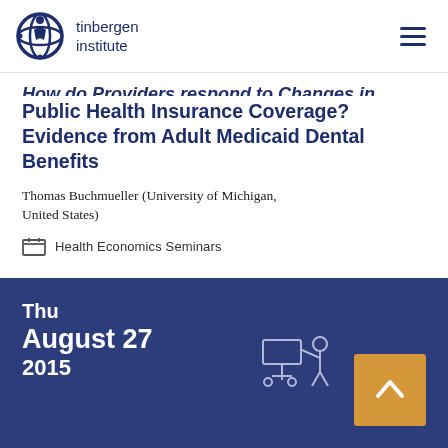tinbergen institute
How do Providers respond to Changes in Public Health Insurance Coverage? Evidence from Adult Medicaid Dental Benefits
Thomas Buchmueller (University of Michigan, United States)
Health Economics Seminars
Thu August 27 2015